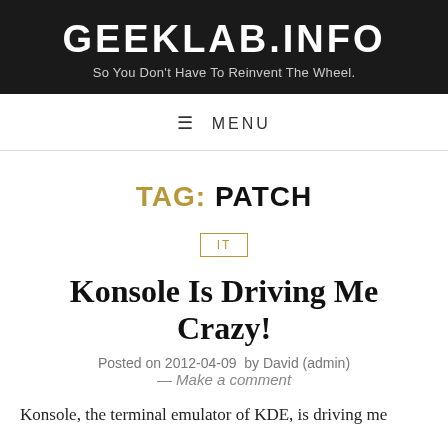GEEKLAB.INFO
So You Don't Have To Reinvent The Wheel.
≡  MENU
TAG: PATCH
IT
Konsole Is Driving Me Crazy!
Posted on 2012-04-09  by David (admin)
— Make a comment
Konsole, the terminal emulator of KDE, is driving me